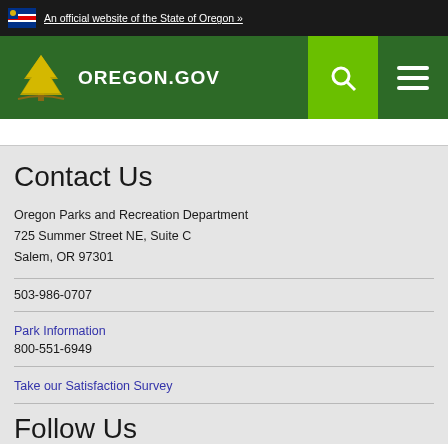An official website of the State of Oregon »
[Figure (logo): Oregon.gov logo with tree graphic on green background]
Contact Us
Oregon Parks and Recreation Department
725 Summer Street NE, Suite C
Salem, OR 97301
503-986-0707
Park Information
800-551-6949
Take our Satisfaction Survey
Follow Us